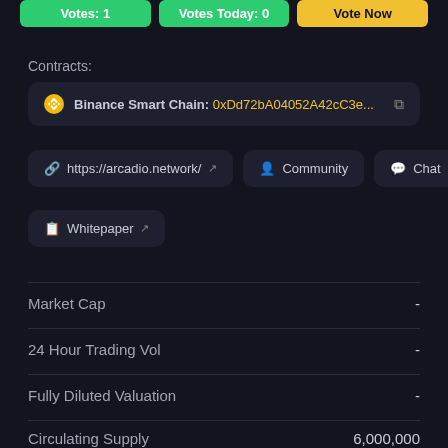Votes: 1
Votes Today: 0
Vote Now
Contracts:
Binance Smart Chain: 0xDd72bA04052A42cC3e...
https://arcadio.network/
Community
Chat
Whitepaper
Market Cap	-
24 Hour Trading Vol	-
Fully Diluted Valuation	-
Circulating Supply	6,000,000